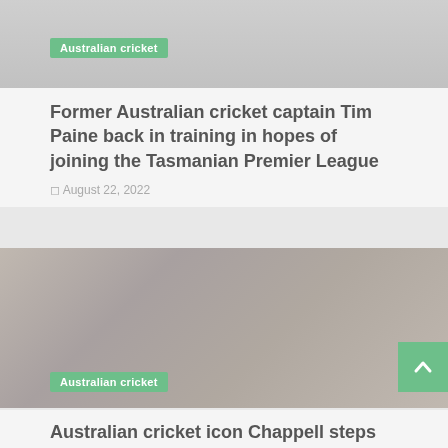[Figure (photo): Top partial image strip of a cricket-related photo, faded/washed out]
Australian cricket
Former Australian cricket captain Tim Paine back in training in hopes of joining the Tasmanian Premier League
August 22, 2022
[Figure (photo): Photo of an older man (Australian cricket icon Chappell) speaking into a microphone at a cricket ground, faded/washed out in grey tones]
Australian cricket
Australian cricket icon Chappell steps down from commentary